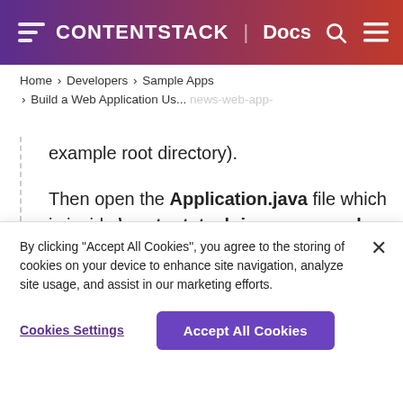CONTENTSTACK | Docs
Home > Developers > Sample Apps > Build a Web Application Us...
example root directory).
Then open the Application.java file which is inside \contentstack-java-news-web-app-
By clicking "Accept All Cookies", you agree to the storing of cookies on your device to enhance site navigation, analyze site usage, and assist in our marketing efforts.
Cookies Settings   Accept All Cookies